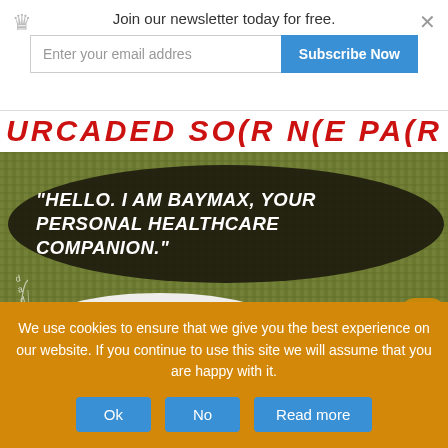Join our newsletter today for free.
Enter your email addres
Subscribe Now
[Figure (photo): Carpet background with a dark oval speech bubble containing the quote 'HELLO. I AM BAYMAX, YOUR PERSONAL HEALTHCARE COMPANION.' overlaid on a green carpet texture. A white figure/shoe is partially visible at the bottom right.]
We use cookies to ensure that we give you the best experience on our website. If you continue to use this site we will assume that you are happy with it.
Ok
No
Read more